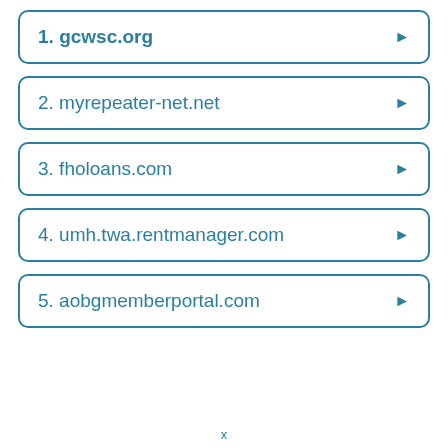1. gcwsc.org
2. myrepeater-net.net
3. fholoans.com
4. umh.twa.rentmanager.com
5. aobgmemberportal.com